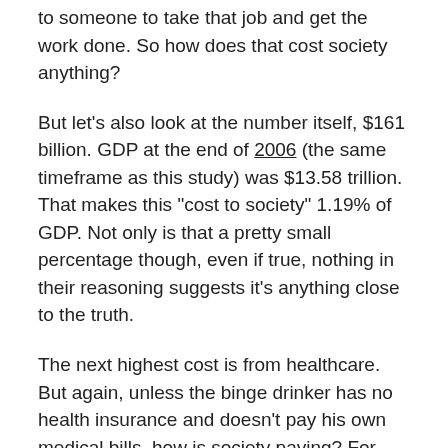to someone to take that job and get the work done. So how does that cost society anything?
But let's also look at the number itself, $161 billion. GDP at the end of 2006 (the same timeframe as this study) was $13.58 trillion. That makes this "cost to society" 1.19% of GDP. Not only is that a pretty small percentage though, even if true, nothing in their reasoning suggests it's anything close to the truth.
The next highest cost is from healthcare. But again, unless the binge drinker has no health insurance and doesn't pay his own medical bills, how is society paying? For those with insurance, their policy pays their medical bills, and whatever isn't covered under their policy they become personally responsible for. I admit that it's more